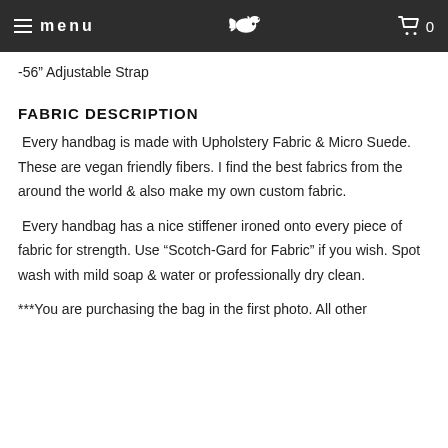menu  [logo]  0
-56" Adjustable Strap
FABRIC DESCRIPTION
Every handbag is made with Upholstery Fabric & Micro Suede. These are vegan friendly fibers. I find the best fabrics from the around the world & also make my own custom fabric.
Every handbag has a nice stiffener ironed onto every piece of fabric for strength. Use “Scotch-Gard for Fabric” if you wish. Spot wash with mild soap & water or professionally dry clean.
***You are purchasing the bag in the first photo. All other